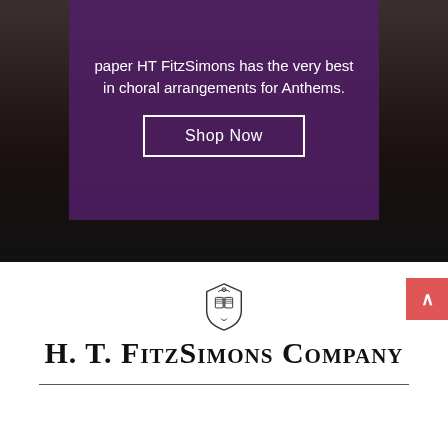[Figure (photo): Hero image with dark background showing what appears to be piano/choral music setting, with a purple semi-transparent overlay box containing promotional text and a Shop Now button]
paper HT FitzSimons has the very best in choral arrangements for Anthems.
Shop Now
[Figure (logo): H. T. FitzSimons Company logo with a decorative crest/shield icon above the company name in small caps serif font, followed by a horizontal rule]
H. T. FitzSimons Company